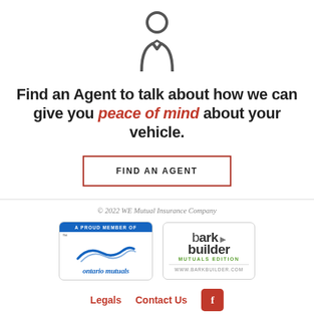[Figure (logo): Person/agent icon with tie, dark gray outline SVG]
Find an Agent to talk about how we can give you peace of mind about your vehicle.
FIND AN AGENT
© 2022 WE Mutual Insurance Company
[Figure (logo): Ontario Mutuals - A Proud Member Of badge logo]
[Figure (logo): Bark Builder Mutuals Edition logo, www.barkbuilder.com]
Legals   Contact Us
[Figure (logo): Facebook icon button, orange/red background]